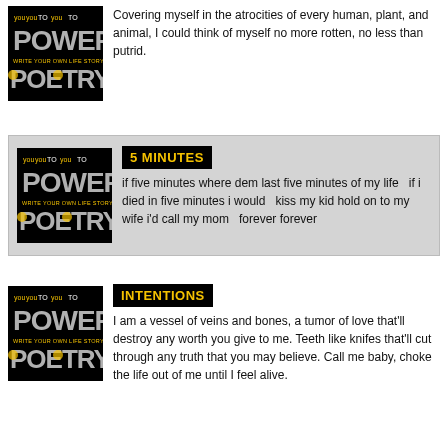[Figure (logo): Power Poetry logo - black background with 'POWER' in large distressed white letters, 'WRITE YOUR OWN LIFE STORY' in yellow, and 'POETRY' in large distressed white letters]
Covering myself in the atrocities of every human, plant, and animal, I could think of myself no more rotten, no less than putrid.
[Figure (logo): Power Poetry logo - black background with 'POWER' in large distressed white letters, 'WRITE YOUR OWN LIFE STORY' in yellow, and 'POETRY' in large distressed white letters]
5 MINUTES
if five minutes where dem last five minutes of my life   if i died in five minutes i would   kiss my kid hold on to my wife i'd call my mom   forever forever
[Figure (logo): Power Poetry logo - black background with 'POWER' in large distressed white letters, 'WRITE YOUR OWN LIFE STORY' in yellow, and 'POETRY' in large distressed white letters]
INTENTIONS
I am a vessel of veins and bones, a tumor of love that'll destroy any worth you give to me. Teeth like knifes that'll cut through any truth that you may believe. Call me baby, choke the life out of me until I feel alive.